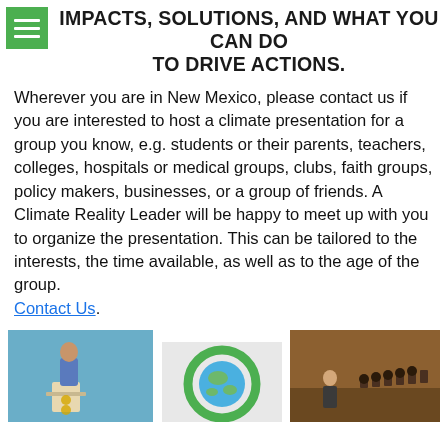IMPACTS, SOLUTIONS, AND WHAT YOU CAN DO TO DRIVE ACTIONS.
Wherever you are in New Mexico, please contact us if you are interested to host a climate presentation for a group you know, e.g. students or their parents, teachers, colleges, hospitals or medical groups, clubs, faith groups, policy makers, businesses, or a group of friends. A Climate Reality Leader will be happy to meet up with you to organize the presentation. This can be tailored to the interests, the time available, as well as to the age of the group. Contact Us.
[Figure (photo): Person speaking at a podium at a climate presentation event]
[Figure (logo): Climate Reality Project logo — globe inside a green circle]
[Figure (photo): Speaker presenting to an audience in an auditorium]